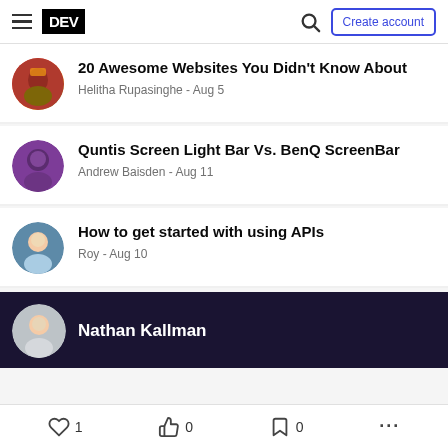DEV — Create account
20 Awesome Websites You Didn't Know About — Helitha Rupasinghe - Aug 5
Quntis Screen Light Bar Vs. BenQ ScreenBar — Andrew Baisden - Aug 11
How to get started with using APIs — Roy - Aug 10
Nathan Kallman
1  0  0  ...